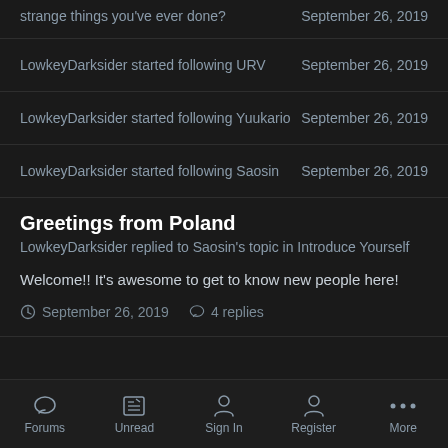strange things you've ever done?	September 26, 2019
LowkeyDarksider started following URV	September 26, 2019
LowkeyDarksider started following Yuukario	September 26, 2019
LowkeyDarksider started following Saosin	September 26, 2019
Greetings from Poland
LowkeyDarksider replied to Saosin's topic in Introduce Yourself
Welcome!! It's awesome to get to know new people here!
September 26, 2019   4 replies
Forums   Unread   Sign In   Register   More